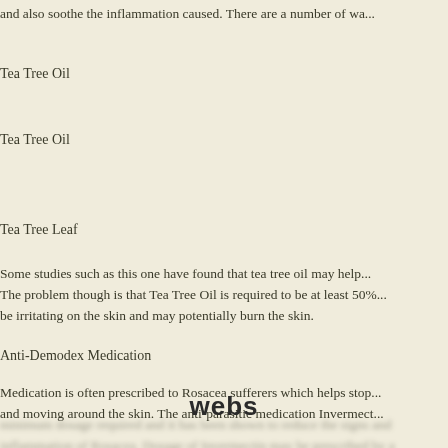and also soothe the inflammation caused. There are a number of wa...
Tea Tree Oil
Tea Tree Oil
Tea Tree Leaf
Some studies such as this one have found that tea tree oil may help... The problem though is that Tea Tree Oil is required to be at least 50%... be irritating on the skin and may potentially burn the skin.
Anti-Demodex Medication
Medication is often prescribed to Rosacea sufferers which helps stop... and moving around the skin. The anti-parasitic medication Invermect...